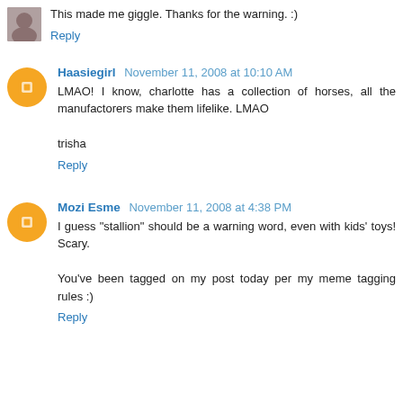This made me giggle. Thanks for the warning. :)
Reply
Haasiegirl November 11, 2008 at 10:10 AM
LMAO! I know, charlotte has a collection of horses, all the manufactorers make them lifelike. LMAO

trisha
Reply
Mozi Esme November 11, 2008 at 4:38 PM
I guess "stallion" should be a warning word, even with kids' toys! Scary.

You've been tagged on my post today per my meme tagging rules :)
Reply